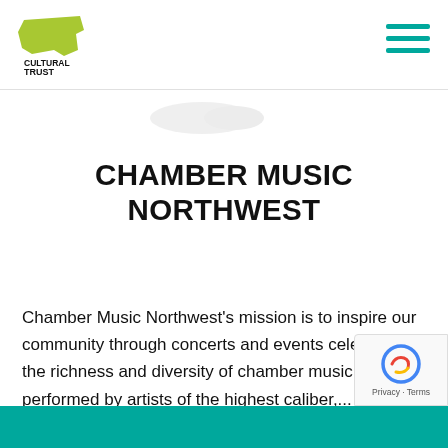Oregon Cultural Trust logo and navigation
[Figure (logo): Oregon Cultural Trust logo — green Oregon state shape with 'CULTURAL TRUST' text]
[Figure (logo): Faded Chamber Music Northwest logo in hero area]
CHAMBER MUSIC NORTHWEST
Chamber Music Northwest's mission is to inspire our community through concerts and events celebrating the richness and diversity of chamber music, performed by artists of the highest caliber,...